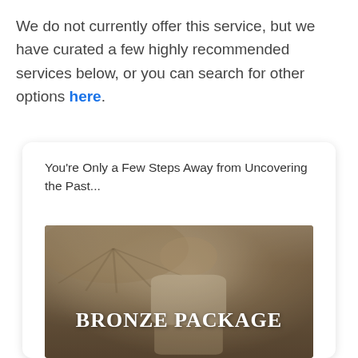We do not currently offer this service, but we have curated a few highly recommended services below, or you can search for other options here.
You're Only a Few Steps Away from Uncovering the Past...
[Figure (photo): Vintage sepia-toned photograph of a young girl in a white dress, with text overlay reading BRONZE PACKAGE]